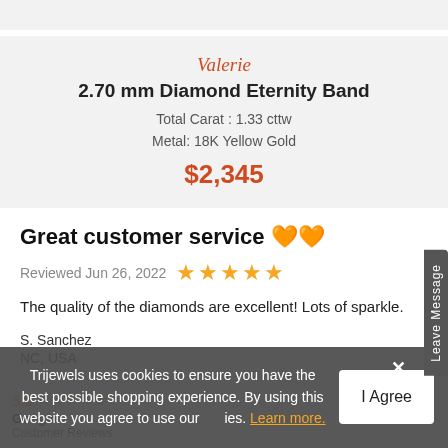[Figure (screenshot): Top gray strip]
Valerie
2.70 mm Diamond Eternity Band
Total Carat : 1.33 cttw
Metal: 18K Yellow Gold
$2,345
Great customer service 🧡🧡
Reviewed Jun 26, 2022  ★★★★★
The quality of the diamonds are excellent! Lots of sparkle.
S. Sanchez
NC, USA
Trijewels uses cookies to ensure you have the best possible shopping experience. By using this website you agree to use our cookies. Learn more.